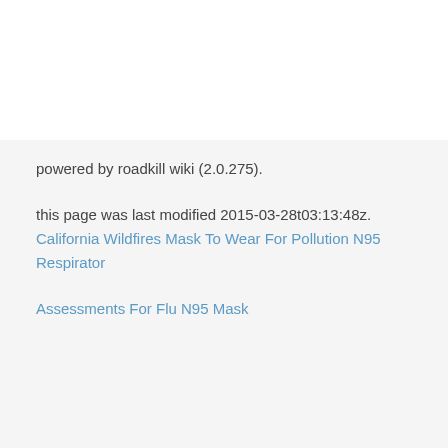powered by roadkill wiki (2.0.275).
this page was last modified 2015-03-28t03:13:48z. California Wildfires Mask To Wear For Pollution N95 Respirator
Assessments For Flu N95 Mask